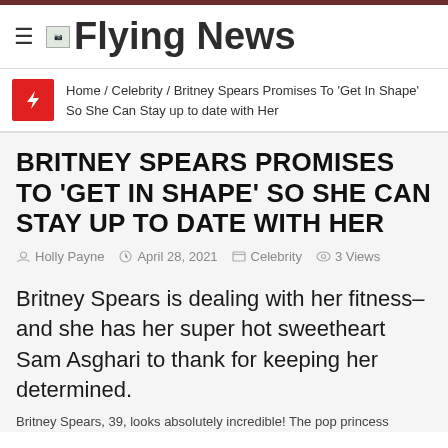Flying News
Home / Celebrity / Britney Spears Promises To 'Get In Shape' So She Can Stay up to date with Her
BRITNEY SPEARS PROMISES TO 'GET IN SHAPE' SO SHE CAN STAY UP TO DATE WITH HER
Holly Payne   April 28, 2021   Celebrity   3 Views
Britney Spears is dealing with her fitness– and she has her super hot sweetheart Sam Asghari to thank for keeping her determined.
Britney Spears, 39, looks absolutely incredible! The pop princess